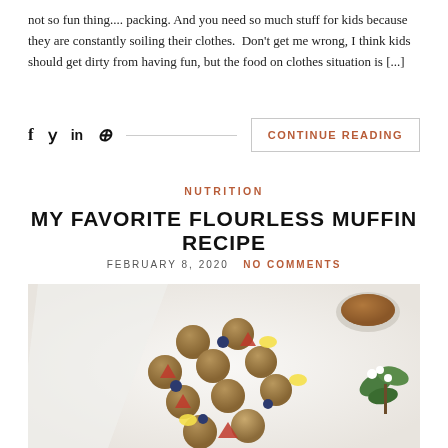not so fun thing.... packing. And you need so much stuff for kids because they are constantly soiling their clothes.  Don't get me wrong, I think kids should get dirty from having fun, but the food on clothes situation is [...]
f  y  in  @  ——————————————————  CONTINUE READING
NUTRITION
MY FAVORITE FLOURLESS MUFFIN RECIPE
FEBRUARY 8, 2020   NO COMMENTS
[Figure (photo): Overhead flat-lay photo of flourless muffins arranged on a white surface with a cloth napkin, scattered with strawberry slices, blueberries, and banana slices. A cup of tea and a small floral decoration are visible.]